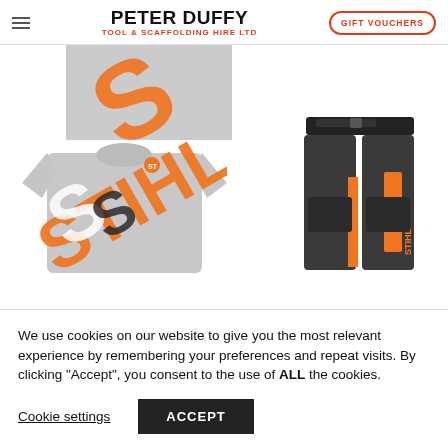PETER DUFFY TOOL & SCAFFOLDING HIRE LTD | GIFT VOUCHERS
[Figure (photo): STIHL branded t-shirt (grey with orange and black STIHL logo) shown from two angles - a cropped top view and a full front view]
[Figure (photo): Black and orange STIHL protective trousers/chainsaw pants shown from the front]
We use cookies on our website to give you the most relevant experience by remembering your preferences and repeat visits. By clicking “Accept”, you consent to the use of ALL the cookies.
Cookie settings | ACCEPT